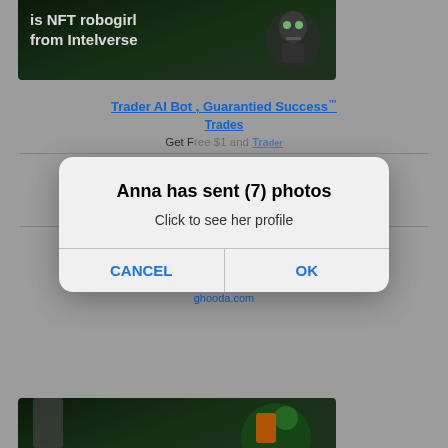[Figure (screenshot): Top portion of NFT robogirl advertisement from Intelverse, showing dark green background with robot figure and white text 'is NFT robogirl from Intelverse']
Trader AI Bot , Guarantied Success™
Trader AI Bot , Guarantied Success Trades
Get Free $1 and collect up to %70 Daily profit
ghooda.com
[Figure (screenshot): Modal dialog popup: Title 'Anna has sent (7) photos', message 'Click to see her profile', buttons CANCEL and OK]
Trader AI Bot , Guarantied Success Trades
Get Free $1 and collect up to %70 Daily profit
ghooda.com
[Figure (photo): Bottom portion of NFT robot advertisement, partially visible, showing green robot figure on dark background]